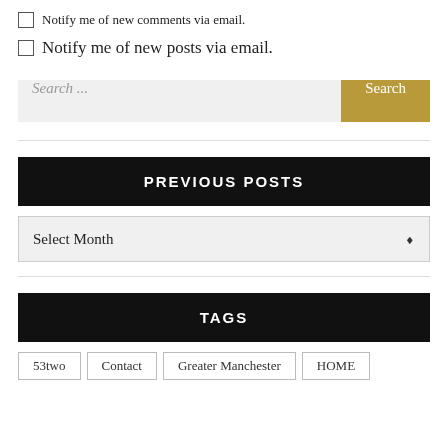Notify me of new comments via email.
Notify me of new posts via email.
Search ...
PREVIOUS POSTS
Select Month
TAGS
53two
Contact
Greater Manchester
HOME